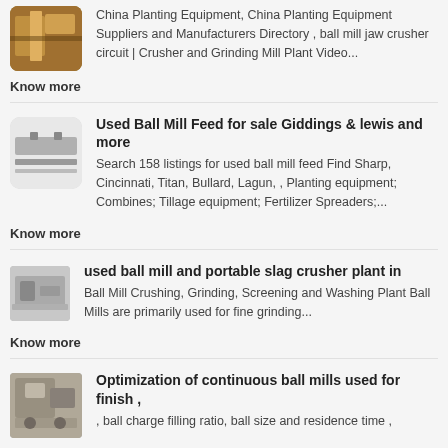China Planting Equipment, China Planting Equipment Suppliers and Manufacturers Directory , ball mill jaw crusher circuit | Crusher and Grinding Mill Plant Video...
Know more
[Figure (photo): Thumbnail image of ball mill feed equipment]
Used Ball Mill Feed for sale Giddings & lewis and more
Search 158 listings for used ball mill feed Find Sharp, Cincinnati, Titan, Bullard, Lagun, , Planting equipment; Combines; Tillage equipment; Fertilizer Spreaders;...
Know more
[Figure (photo): Thumbnail image of portable slag crusher plant]
used ball mill and portable slag crusher plant in
Ball Mill Crushing, Grinding, Screening and Washing Plant Ball Mills are primarily used for fine grinding...
Know more
[Figure (photo): Thumbnail image of continuous ball mills]
Optimization of continuous ball mills used for finish ,
, ball charge filling ratio, ball size and residence time ,